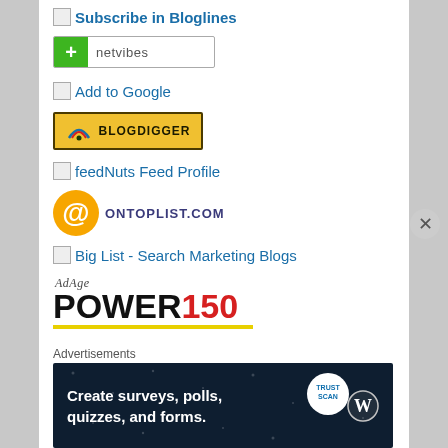[Figure (screenshot): Subscribe in Bloglines link with broken image icon]
[Figure (screenshot): Netvibes add button with green plus sign and 'netvibes' text]
[Figure (screenshot): Add to Google link with broken image icon]
[Figure (logo): BlogDigger badge with rainbow arc logo and 'BLOGDIGGER' text on yellow/gold background]
[Figure (screenshot): feedNuts Feed Profile link with broken image icon]
[Figure (logo): OnTopList.com logo with orange @ symbol and uppercase text]
[Figure (screenshot): Big List - Search Marketing Blogs link with broken image icon]
[Figure (logo): Ad Age POWER150 logo with yellow underline]
Advertisements
[Figure (screenshot): Advertisement banner: 'Create surveys, polls, quizzes, and forms.' with WordPress and TrustScan logos on dark blue background]